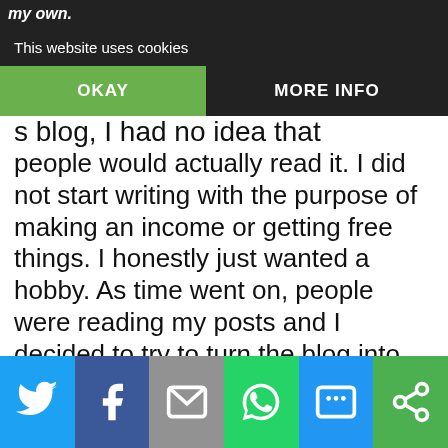my own.
This website uses cookies
OKAY   MORE INFO
s blog, I had no idea that people would actually read it. I did not start writing with the purpose of making an income or getting free things. I honestly just wanted a hobby. As time went on, people were reading my posts and I decided to try to turn the blog into an income source. Now that the blog has evolved and grown, it is important to me that I continue to learn how to bring traffic to the site. I will thrilled to get Russell Brunson's new book Traffic Secrets: The Underground Playbook for Filling Your Websites and Funnels with Your
Social share bar: Twitter, Facebook, Email, WhatsApp, SMS, Other